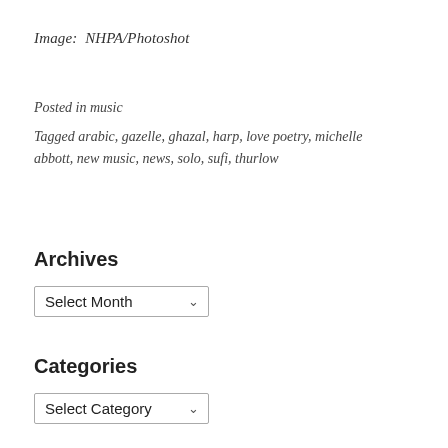Image:  NHPA/Photoshot
Posted in music
Tagged arabic, gazelle, ghazal, harp, love poetry, michelle abbott, new music, news, solo, sufi, thurlow
Archives
Select Month
Categories
Select Category